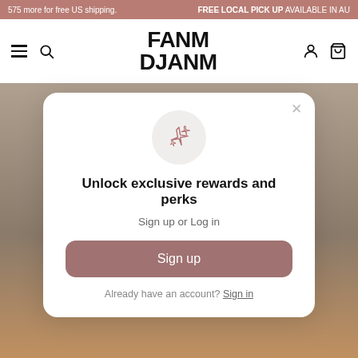575 more for free US shipping.   FREE LOCAL PICK UP AVAILABLE IN AU
[Figure (logo): FANM DJANM brand logo in bold black text]
Unlock exclusive rewards and perks
Sign up or Log in
Sign up
Already have an account? Sign in